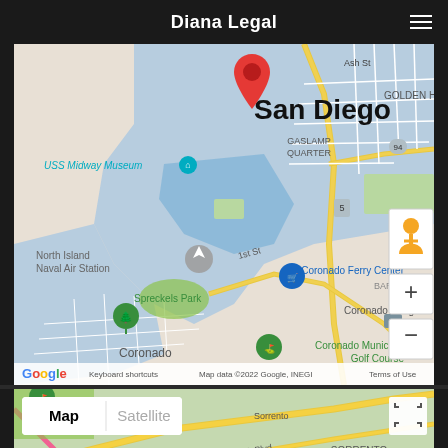Diana Legal
[Figure (map): Google Maps showing San Diego area including USS Midway Museum, Gaslamp Quarter, North Island Naval Air Station, Spreckels Park, Coronado Bridge, Coronado Ferry Center, and Coronado Municipal Golf Course. A red pin marker is placed over downtown San Diego. Map controls include a pegman icon, zoom in (+) and zoom out (-) buttons. Google logo and attribution visible at bottom: 'Keyboard shortcuts  Map data ©2022 Google, INEGI  Terms of Use']
[Figure (map): Second Google Maps preview showing Sorrento Valley area with Map/Satellite toggle buttons and expand icon. Labels visible include Sorrento Valley and Lusk Blvd.]